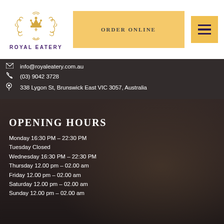[Figure (logo): Royal Eatery ornate golden crown and floral logo with text ROYAL EATERY below in purple]
ORDER ONLINE
info@royaleatery.com.au
(03) 9042 3728
338 Lygon St, Brunswick East VIC 3057, Australia
OPENING HOURS
Monday 16:30 PM - 22:30 PM
Tuesday Closed
Wednesday 16:30 PM - 22:30 PM
Thursday 12.00 pm - 02.00 am
Friday 12.00 pm - 02.00 am
Saturday 12.00 pm - 02.00 am
Sunday 12.00 pm - 02.00 am